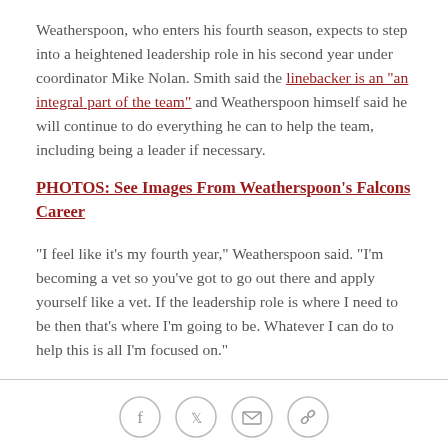Weatherspoon, who enters his fourth season, expects to step into a heightened leadership role in his second year under coordinator Mike Nolan. Smith said the linebacker is an "an integral part of the team" and Weatherspoon himself said he will continue to do everything he can to help the team, including being a leader if necessary.
PHOTOS: See Images From Weatherspoon's Falcons Career
"I feel like it's my fourth year," Weatherspoon said. "I'm becoming a vet so you've got to go out there and apply yourself like a vet. If the leadership role is where I need to be then that's where I'm going to be. Whatever I can do to help this is all I'm focused on."